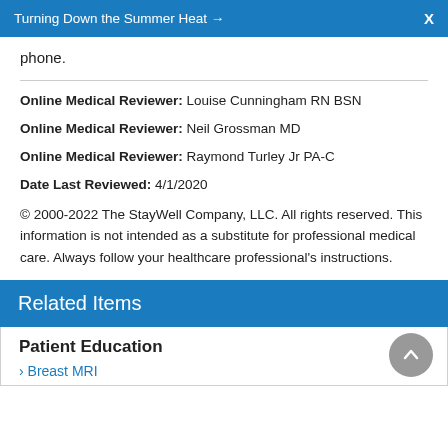Turning Down the Summer Heat → X
phone.
Online Medical Reviewer: Louise Cunningham RN BSN
Online Medical Reviewer: Neil Grossman MD
Online Medical Reviewer: Raymond Turley Jr PA-C
Date Last Reviewed: 4/1/2020
© 2000-2022 The StayWell Company, LLC. All rights reserved. This information is not intended as a substitute for professional medical care. Always follow your healthcare professional's instructions.
Related Items
Patient Education
Breast MRI